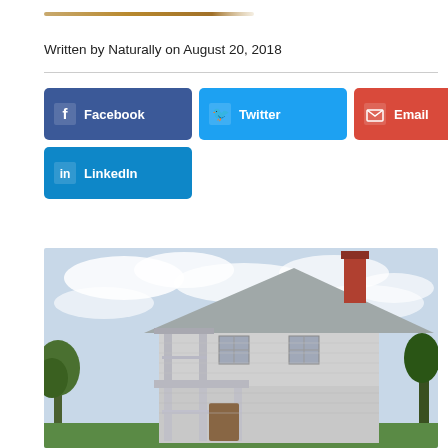[Figure (logo): Decorative golden/tan horizontal bar logo at top of page]
Written by Naturally on August 20, 2018
[Figure (infographic): Social share buttons: Facebook (dark blue), Twitter (light blue), Email (red), LinkedIn (blue)]
[Figure (photo): Photograph of a two-story white historic house with a covered porch, chimney, and trees, under a cloudy sky]